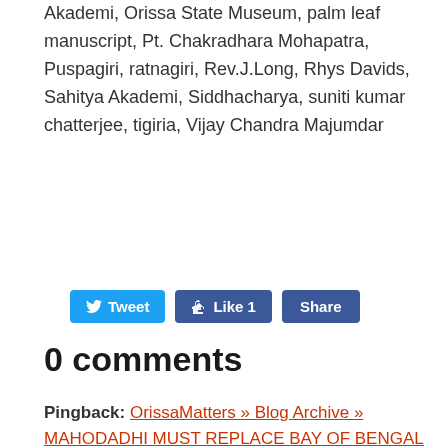Akademi, Orissa State Museum, palm leaf manuscript, Pt. Chakradhara Mohapatra, Puspagiri, ratnagiri, Rev.J.Long, Rhys Davids, Sahitya Akademi, Siddhacharya, suniti kumar chatterjee, tigiria, Vijay Chandra Majumdar
[Figure (other): Social sharing buttons: Tweet (Twitter), Like 1 (Facebook), Share (Facebook)]
0 comments
Pingback: OrissaMatters » Blog Archive » MAHODADHI MUST REPLACE BAY OF BENGAL IN